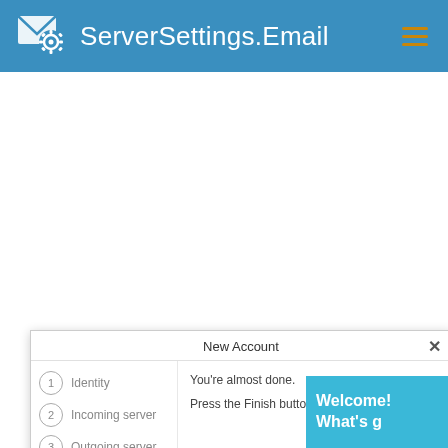ServerSettings.Email
[Figure (screenshot): White content area of a website, mostly blank, showing a New Account modal dialog at the bottom with steps: Identity, Incoming server, Outgoing server, and text 'You're almost done. Press the Finish button to create your...']
New Account
1 Identity
2 Incoming server
3 Outgoing server
You're almost done.
Press the Finish button to create your
Welcome! What's g